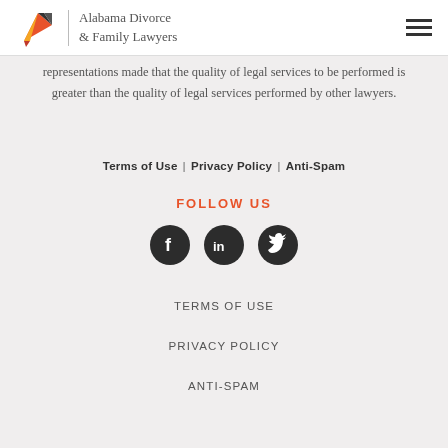Alabama Divorce & Family Lawyers
representations made that the quality of legal services to be performed is greater than the quality of legal services performed by other lawyers.
Terms of Use | Privacy Policy | Anti-Spam
FOLLOW US
[Figure (illustration): Three social media icon circles: Facebook (f), LinkedIn (in), Twitter (bird)]
TERMS OF USE
PRIVACY POLICY
ANTI-SPAM